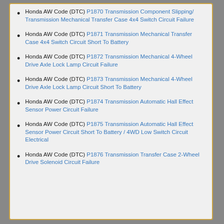Honda AW Code (DTC) P1870 Transmission Component Slipping/ Transmission Mechanical Transfer Case 4x4 Switch Circuit Failure
Honda AW Code (DTC) P1871 Transmission Mechanical Transfer Case 4x4 Switch Circuit Short To Battery
Honda AW Code (DTC) P1872 Transmission Mechanical 4-Wheel Drive Axle Lock Lamp Circuit Failure
Honda AW Code (DTC) P1873 Transmission Mechanical 4-Wheel Drive Axle Lock Lamp Circuit Short To Battery
Honda AW Code (DTC) P1874 Transmission Automatic Hall Effect Sensor Power Circuit Failure
Honda AW Code (DTC) P1875 Transmission Automatic Hall Effect Sensor Power Circuit Short To Battery / 4WD Low Switch Circuit Electrical
Honda AW Code (DTC) P1876 Transmission Transfer Case 2-Wheel Drive Solenoid Circuit Failure